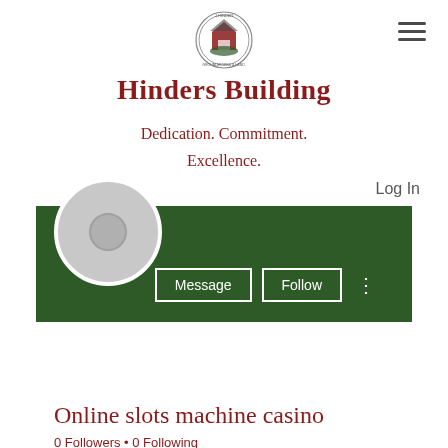[Figure (logo): Circular logo with house/landscape icon and text 'J. HINDER' around the top]
Hinders Building
Dedication. Commitment. Excellence.
Log In
[Figure (screenshot): Dark green profile banner with Message and Follow buttons]
[Figure (photo): Gray circular avatar placeholder with inner circle]
Online slots machine casino
0 Followers • 0 Following